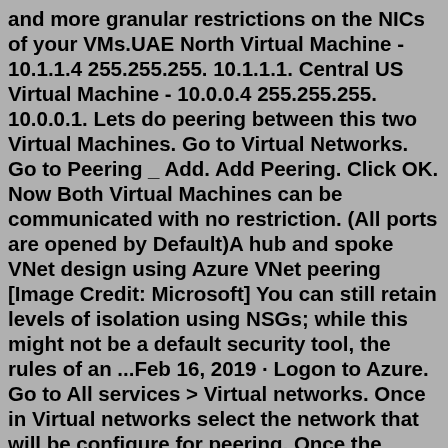and more granular restrictions on the NICs of your VMs.UAE North Virtual Machine - 10.1.1.4 255.255.255. 10.1.1.1. Central US Virtual Machine - 10.0.0.4 255.255.255. 10.0.0.1. Lets do peering between this two Virtual Machines. Go to Virtual Networks. Go to Peering _ Add. Add Peering. Click OK. Now Both Virtual Machines can be communicated with no restriction. (All ports are opened by Default)A hub and spoke VNet design using Azure VNet peering [Image Credit: Microsoft] You can still retain levels of isolation using NSGs; while this might not be a default security tool, the rules of an ...Feb 16, 2019 · Logon to Azure. Go to All services > Virtual networks. Once in Virtual networks select the network that will be configure for peering. Once the network blade is open go to peering > Add. Enter a Name, select the Subscription that the other vNet is in. Then Select the Virtual Network. Under configuration select Enabled and the last step tick ... With Service Endpoints, traffic still left you vNet and